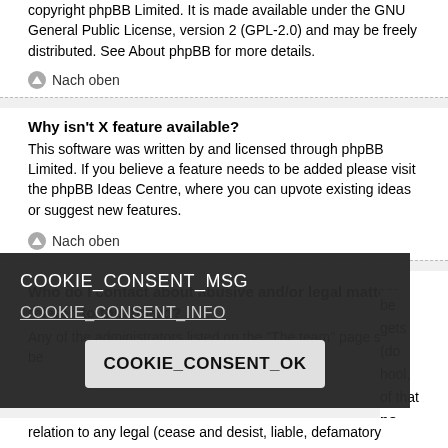copyright phpBB Limited. It is made available under the GNU General Public License, version 2 (GPL-2.0) and may be freely distributed. See About phpBB for more details.
Nach oben
Why isn't X feature available?
This software was written by and licensed through phpBB Limited. If you believe a feature needs to be added please visit the phpBB Ideas Centre, where you can upvote existing ideas or suggest new features.
Nach oben
Who do I contact about abusive and/or legal matters related to this board?
Any of the administrators listed on the "The team" page should be ... gets ... (do ... hool!, ... of that no ... where ... ited in relation to any legal (cease and desist, liable, defamatory
COOKIE_CONSENT_MSG
COOKIE_CONSENT_INFO
COOKIE_CONSENT_OK